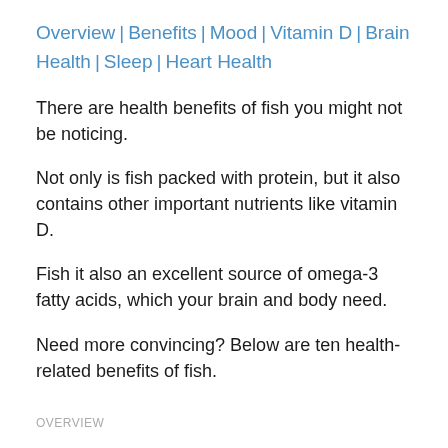Overview | Benefits | Mood | Vitamin D | Brain Health | Sleep | Heart Health
There are health benefits of fish you might not be noticing.
Not only is fish packed with protein, but it also contains other important nutrients like vitamin D.
Fish it also an excellent source of omega-3 fatty acids, which your brain and body need.
Need more convincing? Below are ten health-related benefits of fish.
OVERVIEW